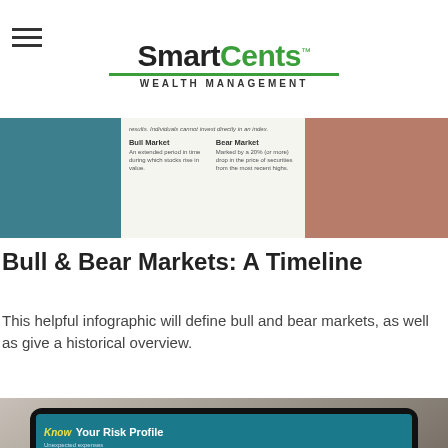SmartCents™ WEALTH MANAGEMENT
[Figure (infographic): Banner showing a partial infographic about Bull Market and Bear Market with teal left section, center content area with text definitions, and brown/tan right section]
Bull & Bear Markets: A Timeline
This helpful infographic will define bull and bear markets, as well as give a historical overview.
[Figure (photo): Hands holding a tablet displaying a risk profile infographic with text 'Know Your Risk Profile', featuring External Risks and Company-Specific Risks on a teal background]